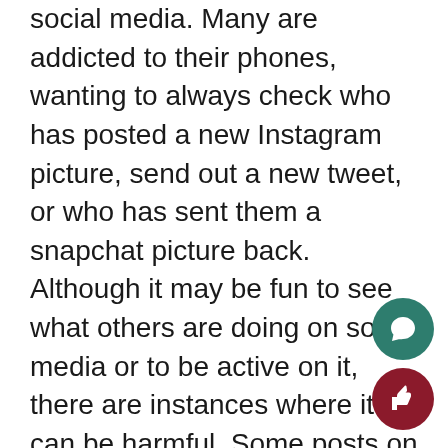social media. Many are addicted to their phones, wanting to always check who has posted a new Instagram picture, send out a new tweet, or who has sent them a snapchat picture back. Although it may be fun to see what others are doing on social media or to be active on it, there are instances where it can be harmful. Some posts on instagram or facebook make others look happy, healthy, and even perfect. These days there are apps to make people look prettier, thinner, and as thought they are at a beautiful destination. The problem with social media is people can show what they want to show, such as the good parts of their life, and not show the ugly or hard times. This results in others looking at their pictures and comparing them to their own. Jealousy comes present and makes them want to look like that person, go to those places, be that happy.